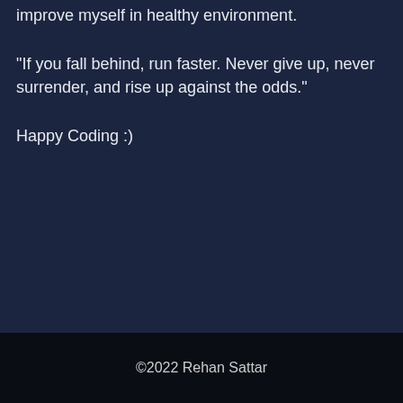I'm always ready to take the challenges and improve myself in healthy environment.
"If you fall behind, run faster. Never give up, never surrender, and rise up against the odds."
Happy Coding :)
©2022 Rehan Sattar